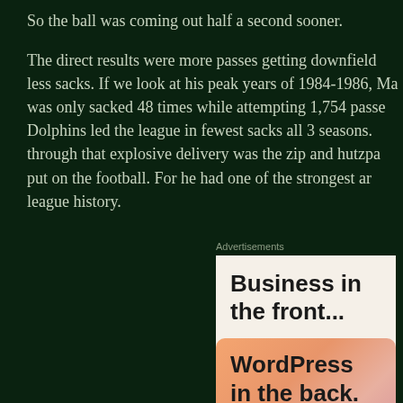So the ball was coming out half a second sooner.
The direct results were more passes getting downfield and less sacks. If we look at his peak years of 1984-1986, Ma was only sacked 48 times while attempting 1,754 passe Dolphins led the league in fewest sacks all 3 seasons. through that explosive delivery was the zip and hutzpa put on the football. For he had one of the strongest ar league history.
Advertisements
[Figure (other): WordPress advertisement: 'Business in the front... WordPress in the back.' with peach/pink gradient background on bottom half.]